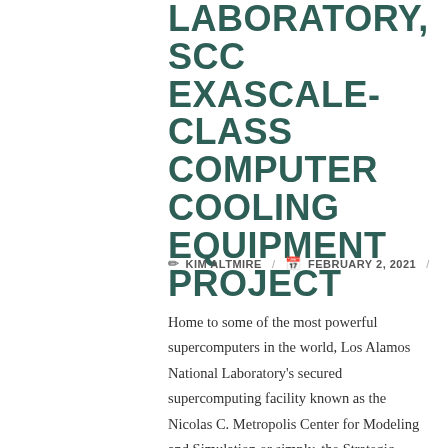LABORATORY, SCC EXASCALE-CLASS COMPUTER COOLING EQUIPMENT PROJECT
KIM ALTMIRE / FEBRUARY 2, 2021 /
Home to some of the most powerful supercomputers in the world, Los Alamos National Laboratory's secured supercomputing facility known as the Nicolas C. Metropolis Center for Modeling and Simulation or simply, the Strategic Computing Complex (SCC),